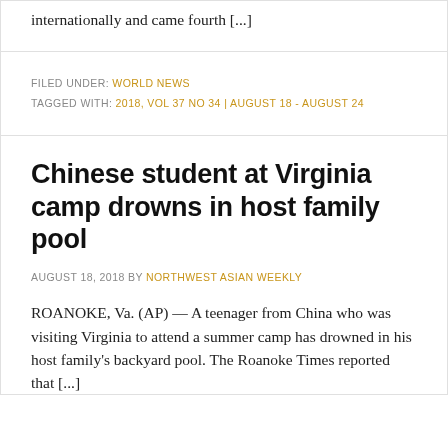internationally and came fourth [...]
FILED UNDER: WORLD NEWS
TAGGED WITH: 2018, VOL 37 NO 34 | AUGUST 18 - AUGUST 24
Chinese student at Virginia camp drowns in host family pool
AUGUST 18, 2018 BY NORTHWEST ASIAN WEEKLY
ROANOKE, Va. (AP) — A teenager from China who was visiting Virginia to attend a summer camp has drowned in his host family's backyard pool. The Roanoke Times reported that [...]